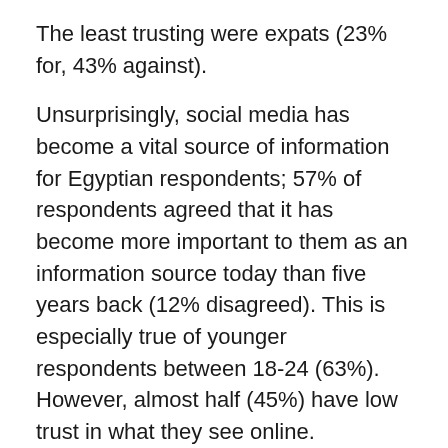The least trusting were expats (23% for, 43% against).
Unsurprisingly, social media has become a vital source of information for Egyptian respondents; 57% of respondents agreed that it has become more important to them as an information source today than five years back (12% disagreed). This is especially true of younger respondents between 18-24 (63%). However, almost half (45%) have low trust in what they see online.
When it comes to the most popular social media channels for information on goods and services, it may be no surprise that Facebook is the most popular by far (71%), followed by WhatsApp (8%). In third with 8% was the choice of none. It seems that if you want to do social media in Egypt, you have to be on Facebook.
Earned Media & Advertising